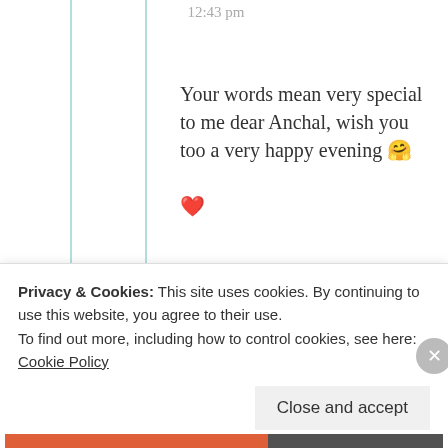12:43 pm
Your words mean very special to me dear Anchal, wish you too a very happy evening 🤗 ❤️
★ Liked by 1 person
StrongSoulTalks
Privacy & Cookies: This site uses cookies. By continuing to use this website, you agree to their use. To find out more, including how to control cookies, see here: Cookie Policy
Close and accept